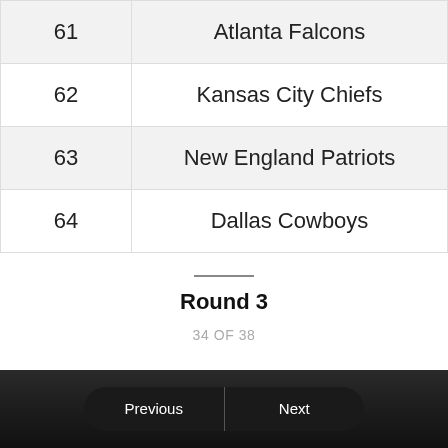| # | Team |
| --- | --- |
| 61 | Atlanta Falcons |
| 62 | Kansas City Chiefs |
| 63 | New England Patriots |
| 64 | Dallas Cowboys |
Round 3
34 OF 38
Previous | Next